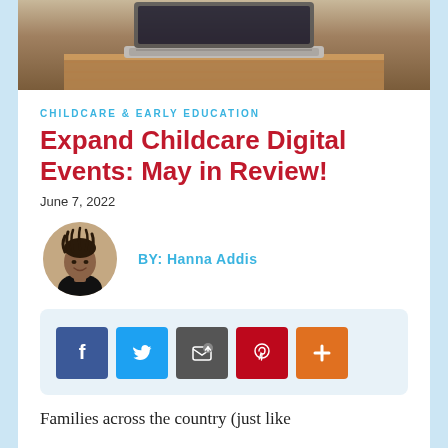[Figure (photo): Partial photo of a laptop on a wooden desk, cropped at the top of the page]
CHILDCARE & EARLY EDUCATION
Expand Childcare Digital Events: May in Review!
June 7, 2022
[Figure (photo): Circular headshot of Hanna Addis, a woman smiling, wearing a black turtleneck]
BY: Hanna Addis
[Figure (infographic): Social sharing buttons: Facebook (blue), Twitter (light blue), Email (dark gray), Pinterest (red), More/Plus (orange)]
Families across the country (just like